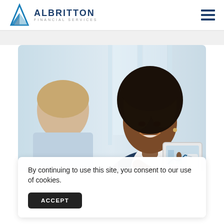ALBRITTON FINANCIAL SERVICES
[Figure (photo): A smiling Black woman in a navy blue blazer and white shirt, leaning forward and pointing at a tablet she is holding. Another person with short blonde hair is seated across from her, viewed from behind. The background is a bright, blurred office setting.]
By continuing to use this site, you consent to our use of cookies.
ACCEPT